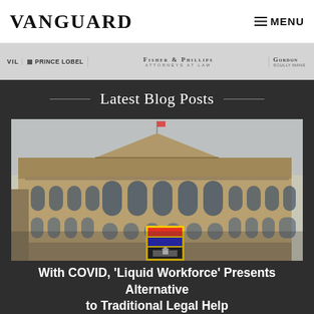VANGUARD | MENU
[Figure (logo): Sponsor logos: Prince Lobel, Fisher & Phillips Attorneys at Law, Gordon Scully Mans]
Latest Blog Posts
[Figure (photo): Photograph of a large classical stone government or legal building (likely Swiss Federal Palace), with arched windows and ornate façade, a sign visible in the foreground]
With COVID, 'Liquid Workforce' Presents Alternative to Traditional Legal Help